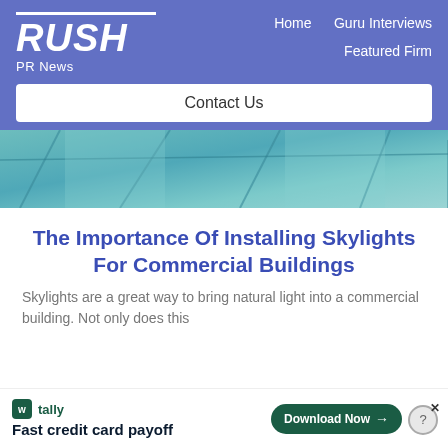RUSH PR News — Home | Guru Interviews | Featured Firm | Contact Us
[Figure (photo): Close-up view of commercial building skylights with teal/blue glass panels seen from below]
The Importance Of Installing Skylights For Commercial Buildings
Skylights are a great way to bring natural light into a commercial building. Not only does this
[Figure (other): Tally app advertisement banner: Fast credit card payoff — Download Now button]